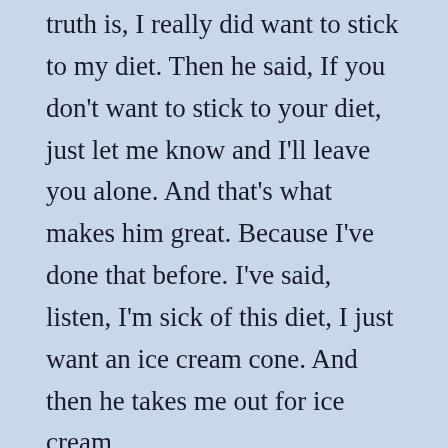truth is, I really did want to stick to my diet. Then he said, If you don't want to stick to your diet, just let me know and I'll leave you alone. And that's what makes him great. Because I've done that before. I've said, listen, I'm sick of this diet, I just want an ice cream cone. And then he takes me out for ice cream.
I'm sure a lot of you have someone important in your life who is struggling with weight issues. I can tell you from experience that the best support for me has been my husband's unconditional love for me. Knowing that he he is willing to take me like I am actually helps me feel empowered enough to want to make changes to become healthier.
Goals for this week: look into Chiropractic Neurology at the recommendation of my brother. Get out and play